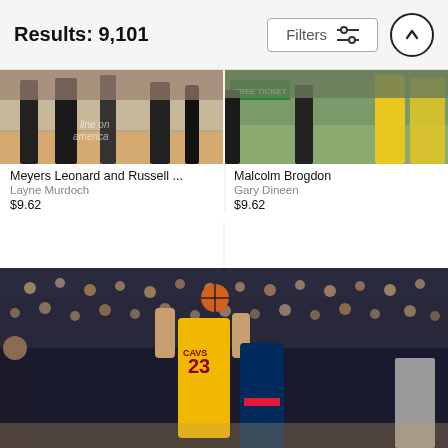Results: 9,101
[Figure (screenshot): Filters button with sliders icon and up arrow scroll button]
[Figure (photo): Meyers Leonard and Russell - cropped basketball game photo showing legs/feet on court, Layne Murdoch photographer]
Meyers Leonard and Russell ...
Layne Murdoch
$9.62
[Figure (photo): Malcolm Brogdon - cropped basketball game photo showing players near basket with FREE TICKET sign visible, Gary Dineen photographer]
Malcolm Brogdon
Gary Dineen
$9.62
[Figure (photo): Basketball player wearing Cleveland Cavaliers #23 jersey shooting over a defender, large crowd in background at an arena game]